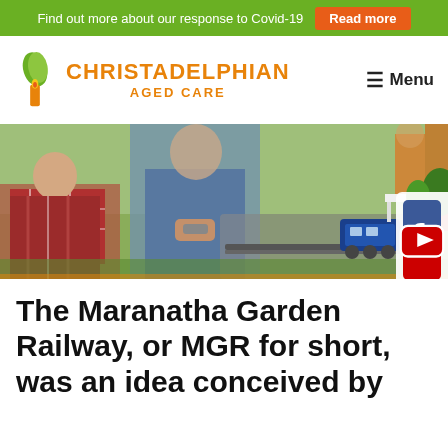Find out more about our response to Covid-19  Read more
[Figure (logo): Christadelphian Aged Care logo with green leaf and orange candle icon]
≡ Menu
[Figure (photo): Elderly man in wheelchair looking at a model train set outdoors, with a caregiver standing nearby]
The Maranatha Garden Railway, or MGR for short, was an idea conceived by